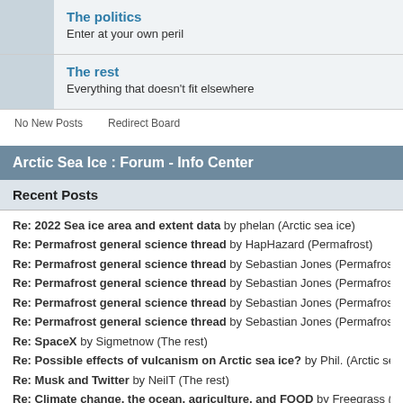The politics
Enter at your own peril
The rest
Everything that doesn't fit elsewhere
No New Posts    Redirect Board
Arctic Sea Ice : Forum - Info Center
Recent Posts
Re: 2022 Sea ice area and extent data by phelan (Arctic sea ice)
Re: Permafrost general science thread by HapHazard (Permafrost)
Re: Permafrost general science thread by Sebastian Jones (Permafrost)
Re: Permafrost general science thread by Sebastian Jones (Permafrost)
Re: Permafrost general science thread by Sebastian Jones (Permafrost)
Re: Permafrost general science thread by Sebastian Jones (Permafrost)
Re: SpaceX by Sigmetnow (The rest)
Re: Possible effects of vulcanism on Arctic sea ice? by Phil. (Arctic sea ice)
Re: Musk and Twitter by NeilT (The rest)
Re: Climate change, the ocean, agriculture, and FOOD by Freegrass (Conseque
Re: Latest PIOMAS Volume update by gerontocrat (Arctic sea ice)
Re: Latest PIOMAS Volume update by gerontocrat (Arctic sea ice)
Re: Electric grid, Generation and Infrastructure by interstitial (Policy and solutio
Re: Latest PIOMAS Volume update by gerontocrat (Arctic sea ice)
Re: SpaceX by Sigmetnow (The rest)
Re: Electric grid, Generation and Infrastructure (partial)